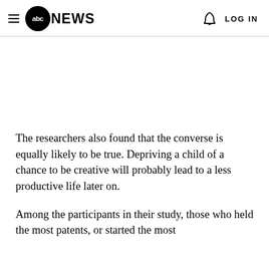abc NEWS | LOG IN
The researchers also found that the converse is equally likely to be true. Depriving a child of a chance to be creative will probably lead to a less productive life later on.
Among the participants in their study, those who held the most patents, or started the most